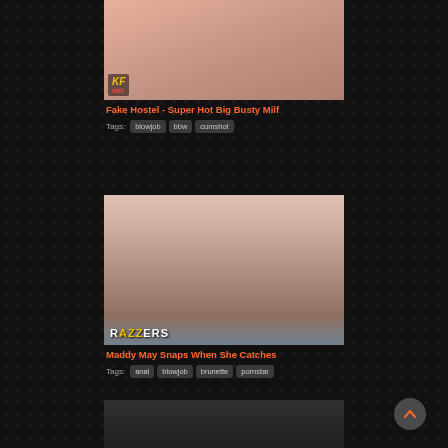[Figure (photo): Thumbnail image for adult video: Fake Hostel - Super Hot Big Busty Milf, with KF Hostel logo badge]
Fake Hostel - Super Hot Big Busty Milf
Tags: blowjob  bbw  cumshot
[Figure (photo): Thumbnail image for adult video: Maddy May Snaps When She Catches, with Brazzers logo overlay]
Maddy May Snaps When She Catches
Tags: anal  blowjob  brunette  pornstar
[Figure (photo): Partial thumbnail of a third video at the bottom of the page]